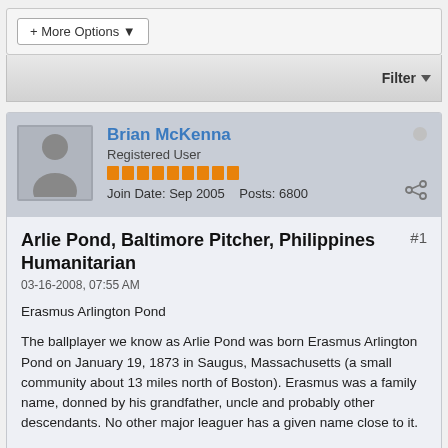[Figure (screenshot): Forum interface top bar with '+ More Options' dropdown button]
[Figure (screenshot): Filter bar with 'Filter' button and dropdown arrow]
Brian McKenna
Registered User
Join Date: Sep 2005  Posts: 6800
Arlie Pond, Baltimore Pitcher, Philippines Humanitarian
03-16-2008, 07:55 AM
Erasmus Arlington Pond
The ballplayer we know as Arlie Pond was born Erasmus Arlington Pond on January 19, 1873 in Saugus, Massachusetts (a small community about 13 miles north of Boston). Erasmus was a family name, donned by his grandfather, uncle and probably other descendants. No other major leaguer has a given name close to it.